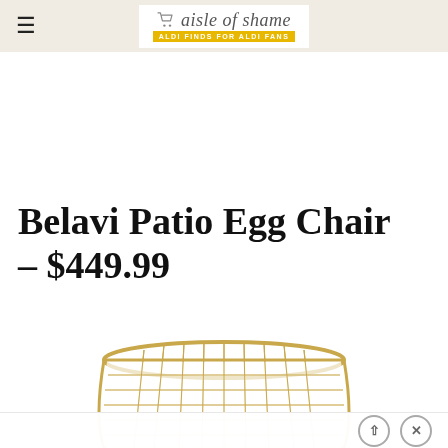aisle of shame — ALDI FINDS FOR ALDI FANS
Belavi Patio Egg Chair – $449.99
[Figure (photo): Photo of a Belavi Patio Egg Chair — gold/beige wicker-style egg-shaped hanging chair, partially visible at bottom of page]